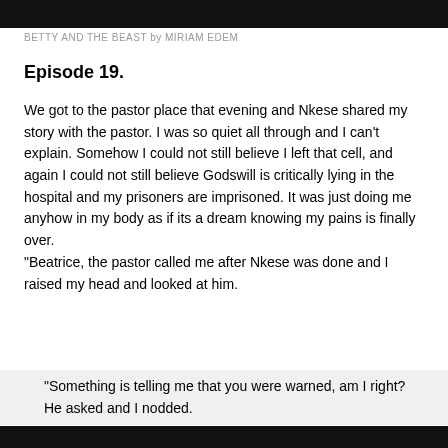BETTY AND THE BEAST by MIRIAM EDEM
Episode 19.
We got to the pastor place that evening and Nkese shared my story with the pastor. I was so quiet all through and I can’t explain. Somehow I could not still believe I left that cell, and again I could not still believe Godswill is critically lying in the hospital and my prisoners are imprisoned. It was just doing me anyhow in my body as if its a dream knowing my pains is finally over. “Beatrice, the pastor called me after Nkese was done and I raised my head and looked at him.
“Something is telling me that you were warned, am I right? He asked and I nodded.